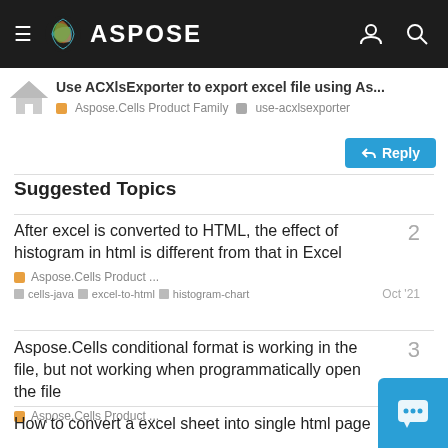ASPOSE
Use ACXlsExporter to export excel file using As...
Aspose.Cells Product Family  use-acxlsexporter
Suggested Topics
After excel is converted to HTML, the effect of histogram in html is different from that in Excel
Aspose.Cells conditional format is working in the file, but not working when programmatically open the file
How to convert a excel sheet into single html page